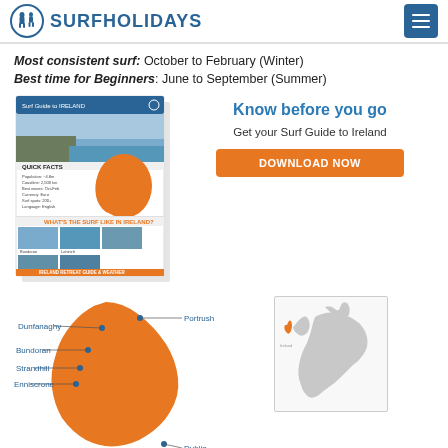SURFHOLIDAYS
Most consistent surf: October to February (Winter)
Best time for Beginners: June to September (Summer)
[Figure (illustration): Surf Guide to Ireland brochure mockup showing coastal photo, quick facts section with orange map of Ireland, and surf information sections with IRELAND RETREAT GUIDE & WEATHER footer]
Know before you go
Get your Surf Guide to Ireland
DOWNLOAD NOW
[Figure (map): Orange map of Ireland with blue dot location markers and labels: Dunfanaghy, Portrush, Bundoran, Strandhill, Enniscrone, Dublin. Inset map showing Ireland's location in Europe highlighted with orange.]